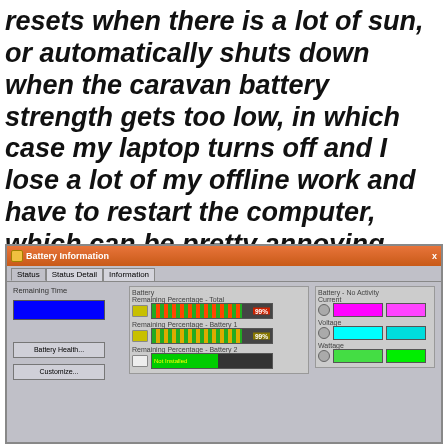resets when there is a lot of sun, or automatically shuts down when the caravan battery strength gets too low, in which case my laptop turns off and I lose a lot of my offline work and have to restart the computer, which can be pretty annoying.
[Figure (screenshot): Windows Battery Information dialog showing Status tab with battery remaining percentages. Shows Remaining Time (blue bar), Battery Remaining Percentage Total (99%), Battery Remaining Percentage Battery 1 (99%), Battery Remaining Percentage Battery 2 (Not Installed). Right panel shows Battery No Activity Current (magenta bars), Voltage (cyan bars), Wattage (green bars). Buttons: Battery Health, Customize.]